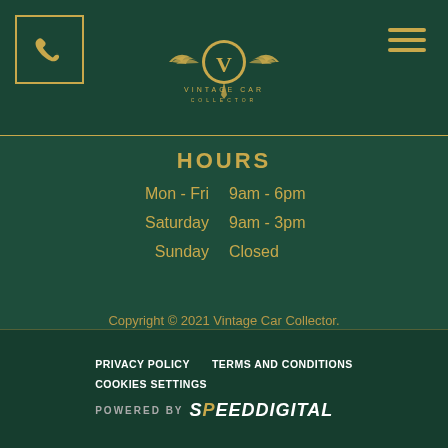[Figure (logo): Vintage Car Collector logo with golden winged V emblem and text]
HOURS
Mon - Fri  9am - 6pm
Saturday  9am - 3pm
Sunday      Closed
Copyright © 2021 Vintage Car Collector. All rights reserved. Privacy Policy
[Figure (other): Social media icons: Facebook, Instagram, YouTube, and another platform in gold circles]
PRIVACY POLICY   TERMS AND CONDITIONS   COOKIES SETTINGS   POWERED BY SPEEDDIGITAL